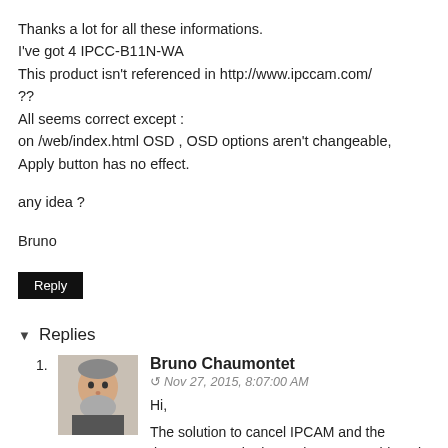Thanks a lot for all these informations.
I've got 4 IPCC-B11N-WA
This product isn't referenced in http://www.ipccam.com/ ??
All seems correct except :
on /web/index.html OSD , OSD options aren't changeable, Apply button has no effect.

any idea ?

Bruno
Reply
Replies
Bruno Chaumontet
Nov 27, 2015, 8:07:00 AM
Hi,

The solution to cancel IPCAM and the timestamp on the image is to put enable=0 in /etc/ipcamera/config_osd.ini in region 0 and region 1, by telnet login=root password=cat1029